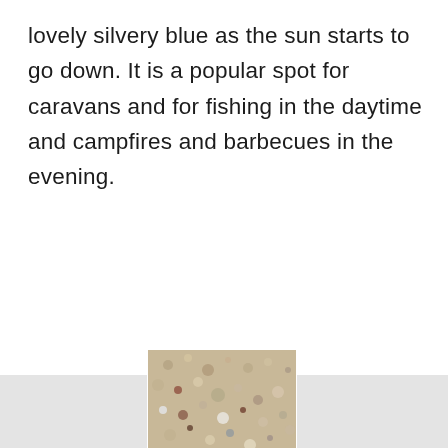lovely silvery blue as the sun starts to go down. It is a popular spot for caravans and for fishing in the daytime and campfires and barbecues in the evening.
[Figure (photo): Three-column grid of beach photos: left cell is light gray placeholder, center cell shows a close-up photo of sand and small shells/pebbles in various colors, right cell is light gray placeholder. Below: left cell shows a beach sunset photo with city skyline silhouette and orange sun on horizon, right cell is light gray placeholder.]